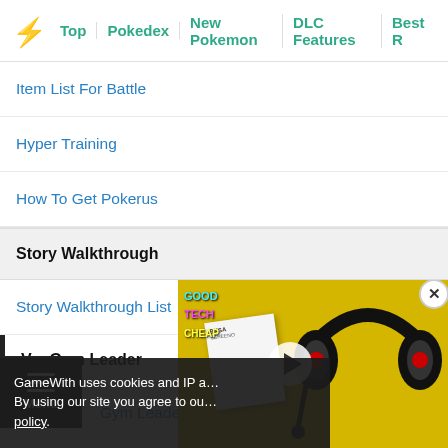Top | Pokedex | New Pokemon | DLC Features | Best R
Item List For Battle
Hyper Training
How To Get Pokerus
Story Walkthrough
Story Walkthrough List
Vs. Gym Leader
Gym Leader List
Gym Leader Milo
[Figure (screenshot): Video overlay showing headphones on yellow background with play button and GoodTechCheap logo]
GameWith uses cookies and IP a… By using our site you agree to ou… policy.